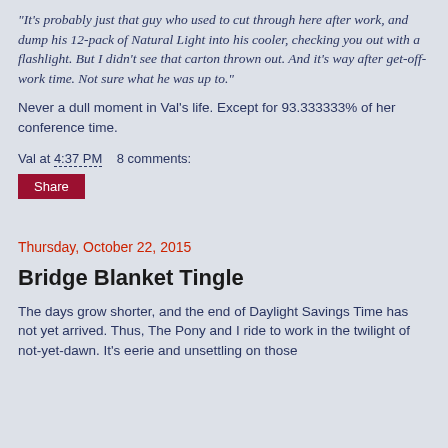"It's probably just that guy who used to cut through here after work, and dump his 12-pack of Natural Light into his cooler, checking you out with a flashlight. But I didn't see that carton thrown out. And it's way after get-off-work time. Not sure what he was up to."
Never a dull moment in Val's life. Except for 93.333333% of her conference time.
Val at 4:37 PM    8 comments:
Share
Thursday, October 22, 2015
Bridge Blanket Tingle
The days grow shorter, and the end of Daylight Savings Time has not yet arrived. Thus, The Pony and I ride to work in the twilight of not-yet-dawn. It's eerie and unsettling on those